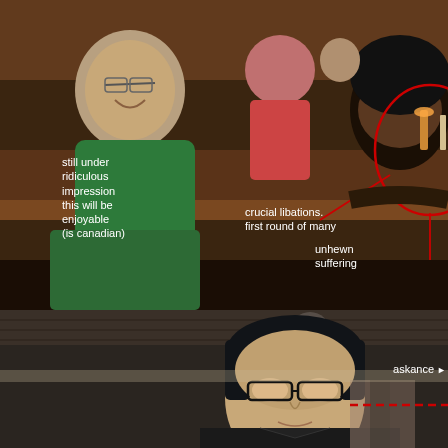[Figure (photo): Photo of people sitting at a bar/restaurant. A man in a green shirt laughing on the left, others in background, and a person with curly hair on the right. Red circle drawn around drinks on the bar. Red lines point from circle to text annotations. White text annotations: 'still under ridiculous impression this will be enjoyable (is canadian)', 'crucial libations. first round of many', 'unhewn suffering'.]
[Figure (photo): Photo of a man with dark hair and glasses looking slightly to the side, taken indoors with wooden paneled ceiling and curtains in background. A dashed red arrow points to the right with text 'askance' partially visible at right edge.]